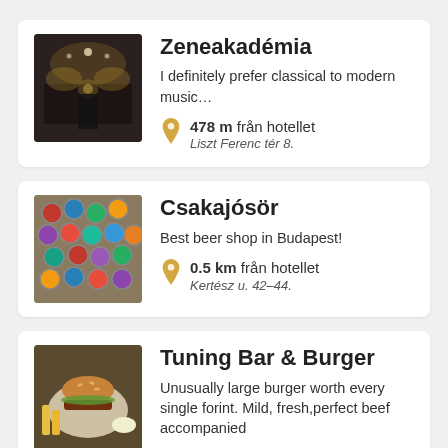[Figure (photo): Interior of Zeneakadémia concert hall with ornate decoration and a performer on stage]
Zeneakadémia
I definitely prefer classical to modern music…
478 m från hotellet
Liszt Ferenc tér 8.
[Figure (photo): Colorful bottle caps arranged on a surface at Csakajósör beer shop]
Csakajósör
Best beer shop in Budapest!
0.5 km från hotellet
Kertész u. 42–44.
[Figure (photo): Food plate with burger and sides at Tuning Bar & Burger]
Tuning Bar & Burger
Unusually large burger worth every single forint. Mild, fresh,perfect beef accompanied